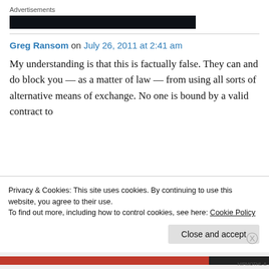Advertisements
[Figure (other): Dark advertisement banner bar]
Greg Ransom on July 26, 2011 at 2:41 am
My understanding is that this is factually false. They can and do block you — as a matter of law — from using all sorts of alternative means of exchange. No one is bound by a valid contract to
Privacy & Cookies: This site uses cookies. By continuing to use this website, you agree to their use.
To find out more, including how to control cookies, see here: Cookie Policy
Close and accept